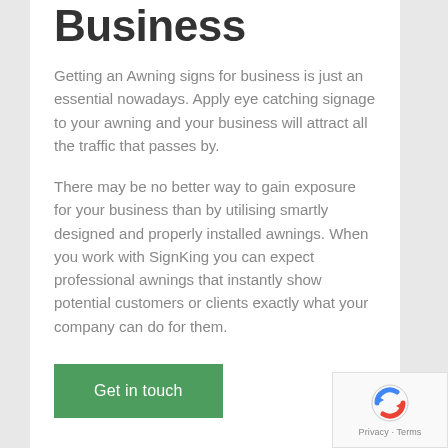Business
Getting an Awning signs for business is just an essential nowadays. Apply eye catching signage to your awning and your business will attract all the traffic that passes by.
There may be no better way to gain exposure for your business than by utilising smartly designed and properly installed awnings. When you work with SignKing you can expect professional awnings that instantly show potential customers or clients exactly what your company can do for them.
Get in touch
[Figure (logo): reCAPTCHA logo with Privacy and Terms text]